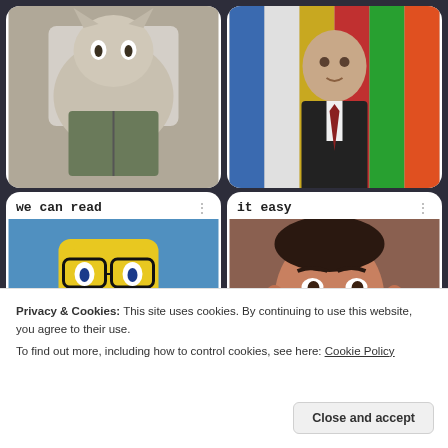[Figure (screenshot): Screenshot of a Padlet board showing meme cards. Top-left card shows a cat reading a book (cropped). Top-right card shows a man in a suit with flags behind him (cropped). Bottom-left card titled 'we can read' shows SpongeBob wearing glasses and reading a book. Bottom-right card titled 'it easy' shows a man's face (Scarface) with a pink plus button overlay.]
Made with padlet
Privacy & Cookies: This site uses cookies. By continuing to use this website, you agree to their use.
To find out more, including how to control cookies, see here: Cookie Policy
Close and accept